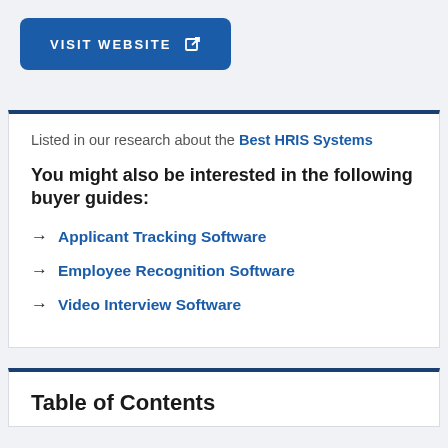[Figure (other): Blue rounded button labeled VISIT WEBSITE with an external link icon]
Listed in our research about the Best HRIS Systems
You might also be interested in the following buyer guides:
→ Applicant Tracking Software
→ Employee Recognition Software
→ Video Interview Software
Table of Contents